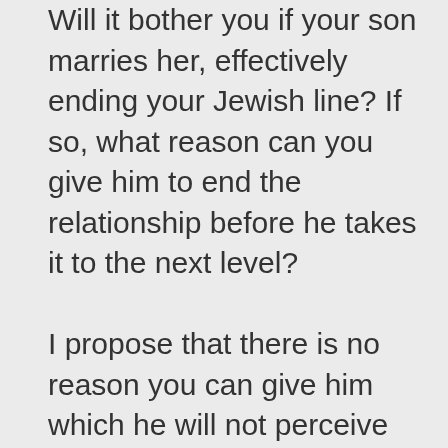Will it bother you if your son marries her, effectively ending your Jewish line? If so, what reason can you give him to end the relationship before he takes it to the next level?

I propose that there is no reason you can give him which he will not perceive as racist.

Do you see where this will lead you, and all other Messianic Jews, ultimately? So it might take five generations, it might take